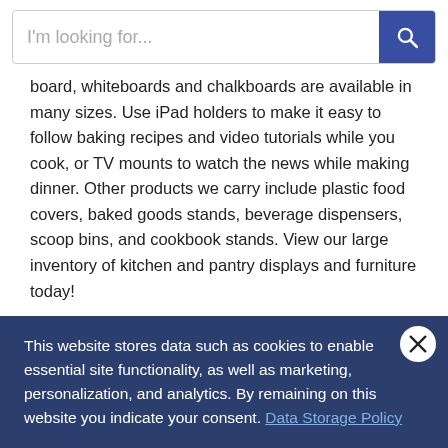[Figure (screenshot): Search bar with placeholder text 'I'm looking for...' and a dark blue search button with magnifying glass icon]
board, whiteboards and chalkboards are available in many sizes. Use iPad holders to make it easy to follow baking recipes and video tutorials while you cook, or TV mounts to watch the news while making dinner. Other products we carry include plastic food covers, baked goods stands, beverage dispensers, scoop bins, and cookbook stands. View our large inventory of kitchen and pantry displays and furniture today!
Browse Product Categories
[Figure (photo): Partial view of a kitchen product (appears to be a French press or similar item) on a light gray background, partially visible at bottom of page]
This website stores data such as cookies to enable essential site functionality, as well as marketing, personalization, and analytics. By remaining on this website you indicate your consent. Data Storage Policy